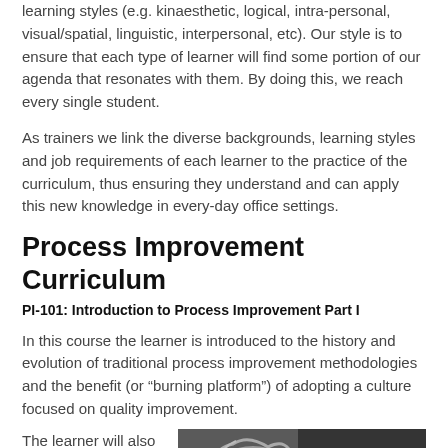learning styles (e.g. kinaesthetic, logical, intra-personal, visual/spatial, linguistic, interpersonal, etc). Our style is to ensure that each type of learner will find some portion of our agenda that resonates with them. By doing this, we reach every single student.
As trainers we link the diverse backgrounds, learning styles and job requirements of each learner to the practice of the curriculum, thus ensuring they understand and can apply this new knowledge in every-day office settings.
Process Improvement Curriculum
PI-101: Introduction to Process Improvement Part I
In this course the learner is introduced to the history and evolution of traditional process improvement methodologies and the benefit (or “burning platform”) of adopting a culture focused on quality improvement.
The learner will also be introduced to “The Whiteboard
[Figure (photo): Black and white photo of Albert Einstein writing 'DUH!' on a chalkboard]